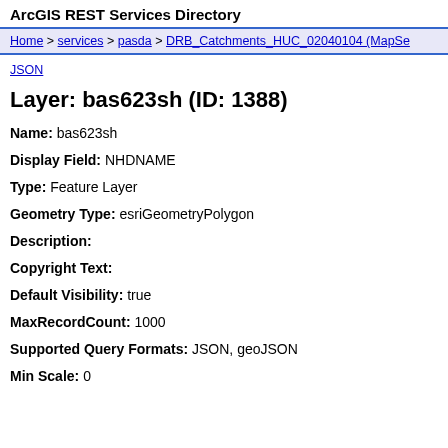ArcGIS REST Services Directory
Home > services > pasda > DRB_Catchments_HUC_02040104 (MapSe...
JSON
Layer: bas623sh (ID: 1388)
Name: bas623sh
Display Field: NHDNAME
Type: Feature Layer
Geometry Type: esriGeometryPolygon
Description:
Copyright Text:
Default Visibility: true
MaxRecordCount: 1000
Supported Query Formats: JSON, geoJSON
Min Scale: 0